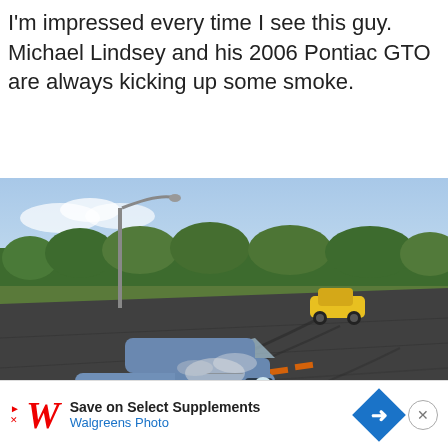I'm impressed every time I see this guy. Michael Lindsey and his 2006 Pontiac GTO are always kicking up some smoke.
[Figure (photo): A blue 2006 Pontiac GTO drifting on a racetrack with smoke coming from tires, a yellow car visible in the background, trees lining the track, a street lamp, and the 'drifted' watermark with 'Photo: Kenny Freeing' credit in the lower right corner.]
[Figure (infographic): Advertisement banner: Walgreens Photo ad with red W logo, text 'Save on Select Supplements' and 'Walgreens Photo', a blue diamond-shaped arrow button, and a close (X) button.]